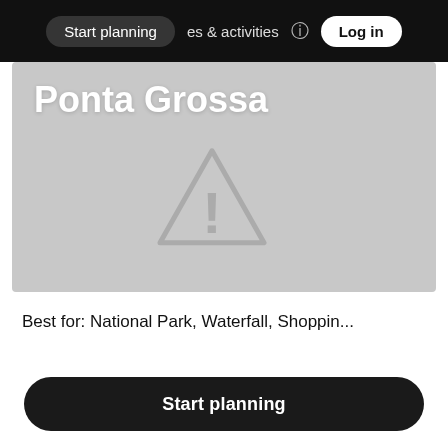Start planning   es & activities   Log in
[Figure (screenshot): Gray placeholder image card for Ponta Grossa with a warning triangle icon (exclamation mark inside triangle) overlaid, and the city name 'Ponta Grossa' in white bold text at the top left]
Ponta Grossa
Best for: National Park, Waterfall, Shoppin...
[Figure (photo): Partial photo of a tall orange/brown tower structure against a blue sky with clouds, with a heart icon in the top right corner]
Start planning